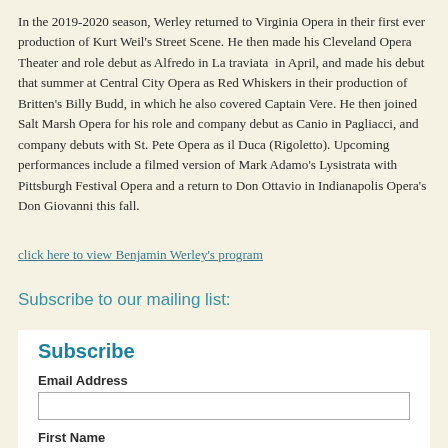In the 2019-2020 season, Werley returned to Virginia Opera in their first ever production of Kurt Weil's Street Scene. He then made his Cleveland Opera Theater and role debut as Alfredo in La traviata in April, and made his debut that summer at Central City Opera as Red Whiskers in their production of Britten's Billy Budd, in which he also covered Captain Vere. He then joined Salt Marsh Opera for his role and company debut as Canio in Pagliacci, and company debuts with St. Pete Opera as il Duca (Rigoletto). Upcoming performances include a filmed version of Mark Adamo's Lysistrata with Pittsburgh Festival Opera and a return to Don Ottavio in Indianapolis Opera's Don Giovanni this fall.
click here to view Benjamin Werley's program
Subscribe to our mailing list:
Subscribe
Email Address
First Name